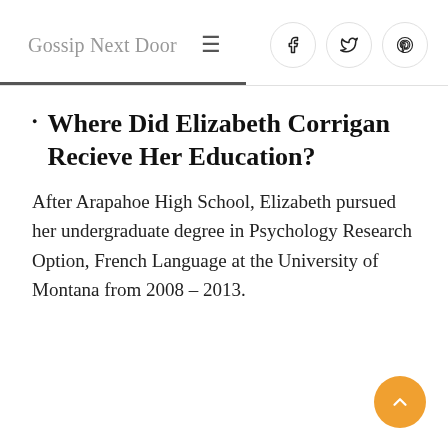Gossip Next Door
Where Did Elizabeth Corrigan Recieve Her Education?
After Arapahoe High School, Elizabeth pursued her undergraduate degree in Psychology Research Option, French Language at the University of Montana from 2008 – 2013.